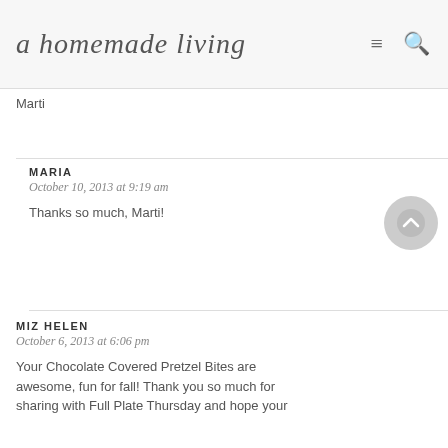a homemade living
Marti
MARIA
October 10, 2013 at 9:19 am
Thanks so much, Marti!
MIZ HELEN
October 6, 2013 at 6:06 pm
Your Chocolate Covered Pretzel Bites are awesome, fun for fall! Thank you so much for sharing with Full Plate Thursday and hope your